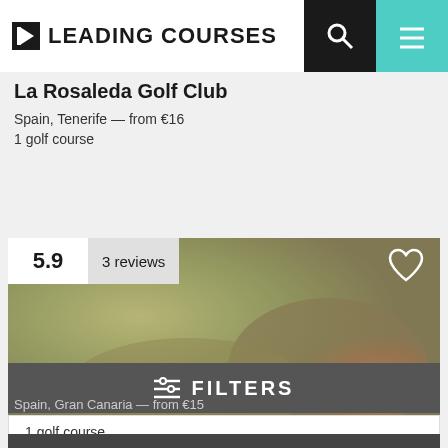LEADING COURSES
La Rosaleda Golf Club
Spain, Tenerife — from €16
1 golf course
[Figure (photo): Golf course photo with rating badge showing 5.9 and 3 reviews, heart icon in top right]
Las Palmeras Golf
Spain, Gran Canaria — from €15
1 golf course